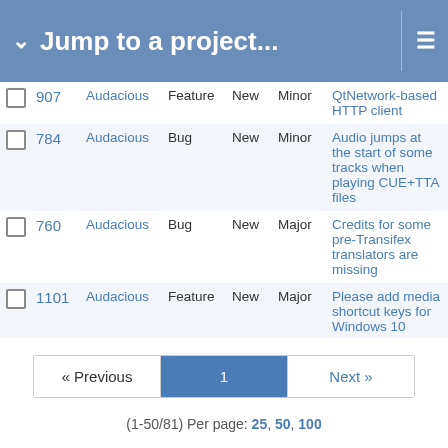Jump to a project...
|  | # | Project | Tracker | Status | Priority | Subject |
| --- | --- | --- | --- | --- | --- | --- |
|  | 907 | Audacious | Feature | New | Minor | QtNetwork-based HTTP client |
|  | 784 | Audacious | Bug | New | Minor | Audio jumps at the start of some tracks when playing CUE+TTA files |
|  | 760 | Audacious | Bug | New | Major | Credits for some pre-Transifex translators are missing |
|  | 1101 | Audacious | Feature | New | Major | Please add media shortcut keys for Windows 10 |
|  | 859 | Audacious | Bug | New | Minor | .wsz skins cannot be used on Windows |
« Previous   1   Next »
(1-50/81) Per page: 25, 50, 100